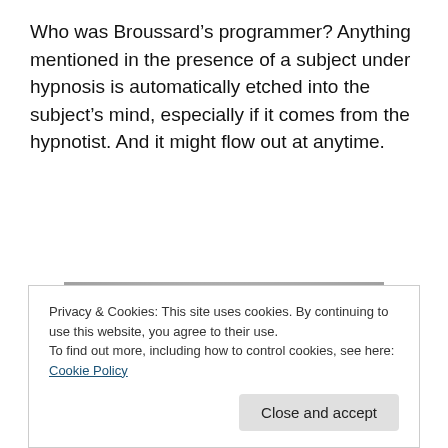Who was Broussard's programmer? Anything mentioned in the presence of a subject under hypnosis is automatically etched into the subject's mind, especially if it comes from the hypnotist. And it might flow out at anytime.
[Figure (photo): Black and white photograph of a young man with dark curly hair, wearing an open-collar shirt, looking slightly to the side.]
Privacy & Cookies: This site uses cookies. By continuing to use this website, you agree to their use.
To find out more, including how to control cookies, see here: Cookie Policy
Close and accept